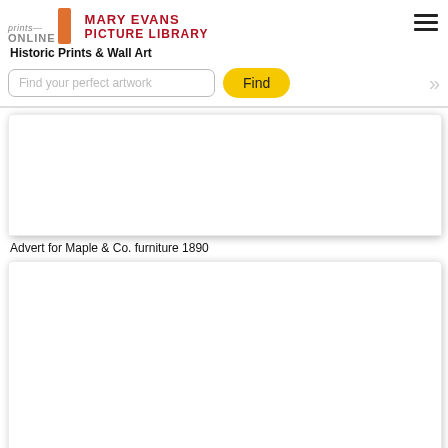[Figure (logo): Prints Online and Mary Evans Picture Library logo in header]
Historic Prints & Wall Art
Find your perfect artwork
[Figure (photo): White/blank image card placeholder for artwork]
Advert for Maple & Co. furniture 1890
[Figure (photo): Second white/blank image card placeholder for artwork]